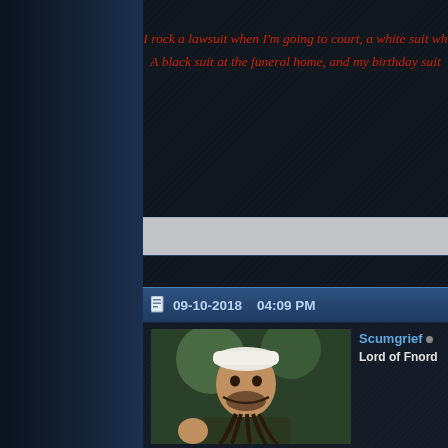I rock a lawsuit when I'm going to court, a white suit wh... A black suit at the funeral home, and my birthday suit...
09-10-2018   04:09 PM
Scumgrief
Lord of Fnord
Forums mighty dead. Few posters, some stop by now & then. TS3... private forums for info on that. WoW looks like they're still raiding n...
Falling Rock Zone: Maintain 80 M.P.H.
Under the Sun / Every Day Comes and Goes
[Figure (photo): Black and white photo of what appears to be a kettle or teapot]